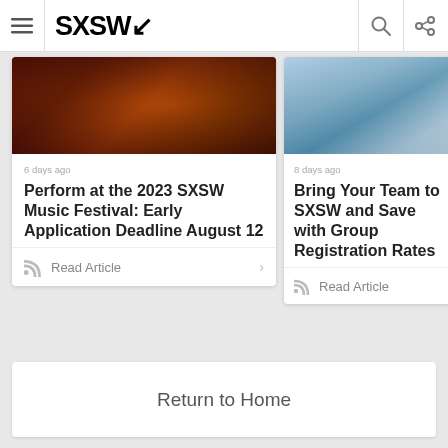SXSW
[Figure (photo): Dark photo of musicians performing, warm reddish-orange tones]
6 days ago
Perform at the 2023 SXSW Music Festival: Early Application Deadline August 12
Read Article
[Figure (photo): Outdoor photo with bright sky, person leaning on railing]
8 days ago
Bring Your Team to SXSW and Save with Group Registration Rates
Read Article
Return to Home